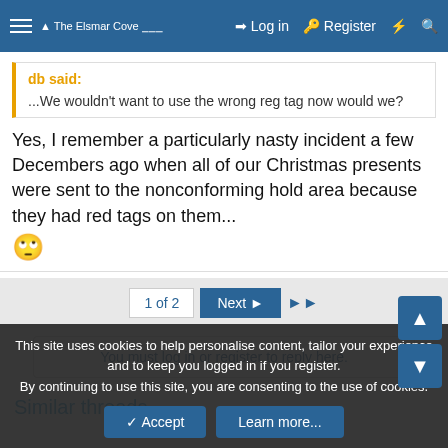The Elsmar Cove | Log in | Register
db said:
...We wouldn't want to use the wrong reg tag now would we?
Yes, I remember a particularly nasty incident a few Decembers ago when all of our Christmas presents were sent to the nonconforming hold area because they had red tags on them... 🙄
1 of 2  Next ▶  ▶▶
You must log in or register to reply here.
Similar threads
This site uses cookies to help personalise content, tailor your experience and to keep you logged in if you register.
By continuing to use this site, you are consenting to the use of cookies.
Accept  Learn more...